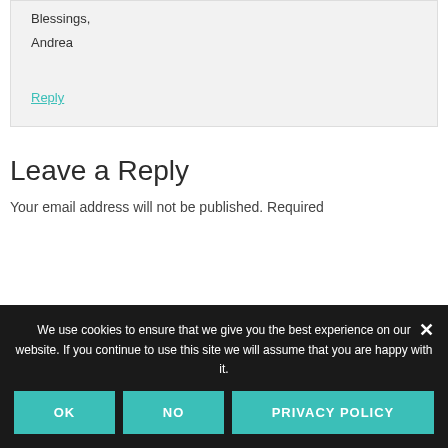Blessings,
Andrea
Reply
Leave a Reply
Your email address will not be published. Required
We use cookies to ensure that we give you the best experience on our website. If you continue to use this site we will assume that you are happy with it.
OK
NO
PRIVACY POLICY